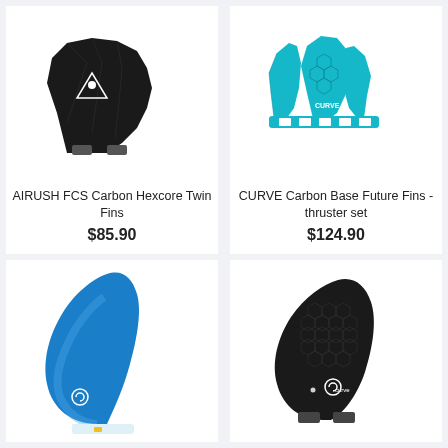[Figure (photo): AIRUSH FCS Carbon Hexcore Twin Fins - black carbon fins with white geometric logo on white background]
AIRUSH FCS Carbon Hexcore Twin Fins
$85.90
[Figure (photo): CURVE Carbon Base Future Fins - thruster set - teal/cyan colored fins with honeycomb pattern and CURVE logo on white background]
CURVE Carbon Base Future Fins - thruster set
$124.90
[Figure (photo): Large blue single surfboard fin with CURVE logo on white background]
[Figure (photo): Dark/black carbon honeycomb pattern surfboard fin with CURVE logo on white background]